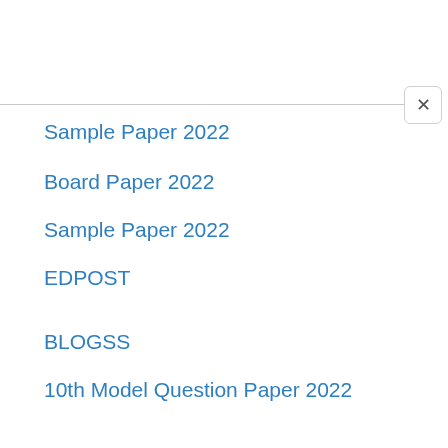Sample Paper 2022
Board Paper 2022
Sample Paper 2022
EDPOST
BLOGSS
10th Model Question Paper 2022
Model Paper 2022
JNANABHUMIAP